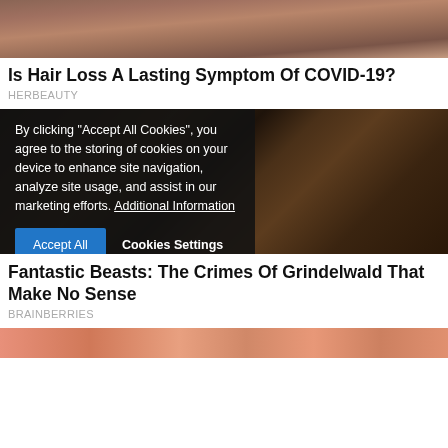[Figure (photo): Close-up photo of hair showing hair loss, top portion cropped]
Is Hair Loss A Lasting Symptom Of COVID-19?
HERBEAUTY
[Figure (photo): Dark movie still from Fantastic Beasts: The Crimes of Grindelwald with a cookie consent overlay]
By clicking "Accept All Cookies", you agree to the storing of cookies on your device to enhance site navigation, analyze site usage, and assist in our marketing efforts. Additional Information
Fantastic Beasts: The Crimes Of Grindelwald That Make No Sense
BRAINBERRIES
[Figure (photo): Partial bottom image with orange/coral pattern, cropped]